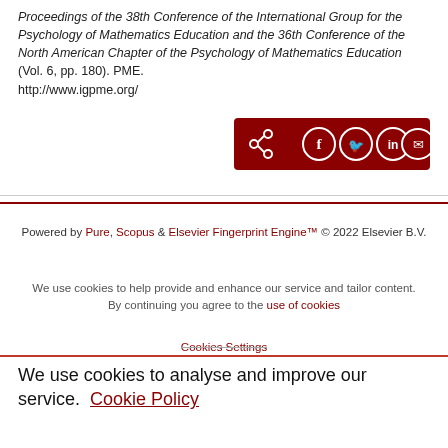Proceedings of the 38th Conference of the International Group for the Psychology of Mathematics Education and the 36th Conference of the North American Chapter of the Psychology of Mathematics Education (Vol. 6, pp. 180). PME. http://www.igpme.org/
[Figure (other): Social sharing button bar with dark red background containing share, Facebook, Twitter, LinkedIn, and email icons]
Powered by Pure, Scopus & Elsevier Fingerprint Engine™ © 2022 Elsevier B.V.
We use cookies to help provide and enhance our service and tailor content. By continuing you agree to the use of cookies
Cookies Settings
We use cookies to analyse and improve our service. Cookie Policy